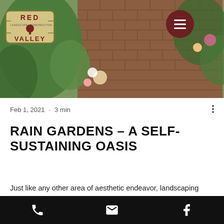[Figure (photo): Header photo showing a brick garden path with green plants and colorful flowers viewed from above]
[Figure (logo): Red Valley Landscape & Construction logo - hexagonal badge shape with red text]
Feb 1, 2021  •  3 min
RAIN GARDENS – A SELF-SUSTAINING OASIS
Just like any other area of aesthetic endeavor, landscaping trends change from season to season and decade to decade. Homeowners in the 1920's wanted to bring nature into their spaces, so birdbaths, fish ponds, and butterfly gardens were all the rage. In the 1950's and 60's the boom in middle-class
Phone | Email | Facebook navigation bar